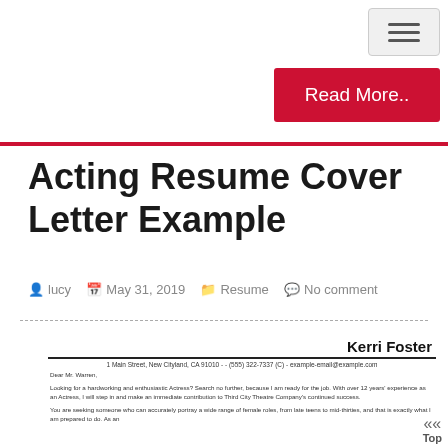Acting Resume Cover Letter Example
lucy   May 31, 2019   Resume   No comment
[Figure (other): Preview of an acting resume cover letter for Kerri Foster, including address, salutation to Mr. Warren, and body text about acting experience and skills.]
Top